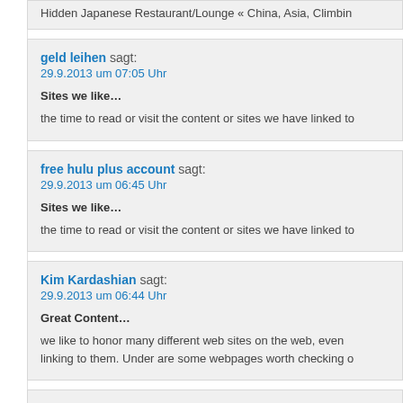Hidden Japanese Restaurant/Lounge « China, Asia, Climbing
geld leihen sagt:
29.9.2013 um 07:05 Uhr
Sites we like…
the time to read or visit the content or sites we have linked to
free hulu plus account sagt:
29.9.2013 um 06:45 Uhr
Sites we like…
the time to read or visit the content or sites we have linked to
Kim Kardashian sagt:
29.9.2013 um 06:44 Uhr
Great Content…
we like to honor many different web sites on the web, even linking to them. Under are some webpages worth checking o
trim down club sagt: